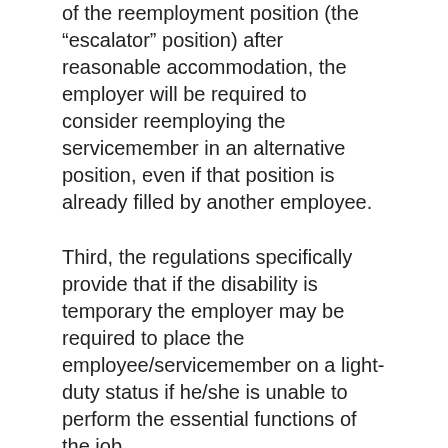of the reemployment position (the “escalator” position) after reasonable accommodation, the employer will be required to consider reemploying the servicemember in an alternative position, even if that position is already filled by another employee.
Third, the regulations specifically provide that if the disability is temporary the employer may be required to place the employee/servicemember on a light-duty status if he/she is unable to perform the essential functions of the job.
Finally, if the reemployed servicemember is later determined to be unable to perform the